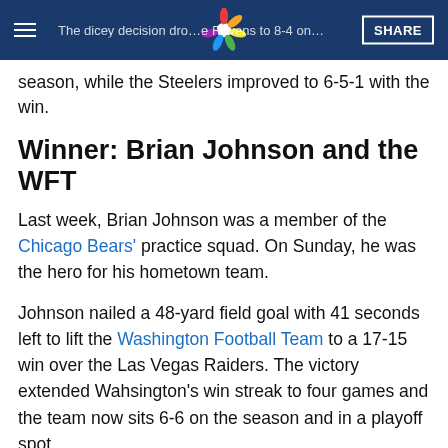NBC4 news header with menu, logo, share button
The dicey decision dropped the Ravens to 8-4 on the season, while the Steelers improved to 6-5-1 with the win.
Winner: Brian Johnson and the WFT
Last week, Brian Johnson was a member of the Chicago Bears' practice squad. On Sunday, he was the hero for his hometown team.
Johnson nailed a 48-yard field goal with 41 seconds left to lift the Washington Football Team to a 17-15 win over the Las Vegas Raiders. The victory extended Wahsington's win streak to four games and the team now sits 6-6 on the season and in a playoff spot.
[Figure (screenshot): Twitter/social media card for Washington Football Team tweet, partially visible at bottom of page]